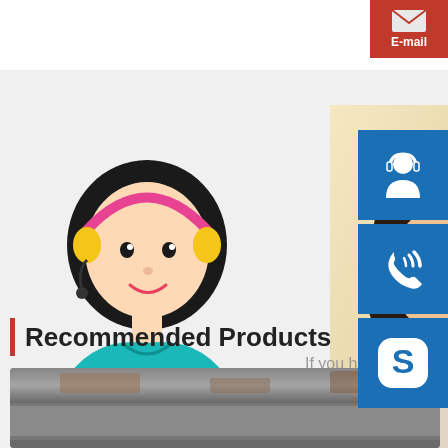[Figure (illustration): Top-right red email tab button with envelope icon and 'E-mail' label]
[Figure (illustration): Cartoon customer service representative with headset, teal shirt, on light gray background]
If you have a reply very so
[Figure (photo): Photo of smiling Asian woman with headset on blurred background]
[Figure (illustration): Three blue square icons on right sidebar: customer service agent icon, phone/call icon, Skype icon]
MANUAL SE QUOTING O bsteel1@163.com
Recommended Products
[Figure (photo): Product photo showing steel/metal bars or rails at bottom of page]